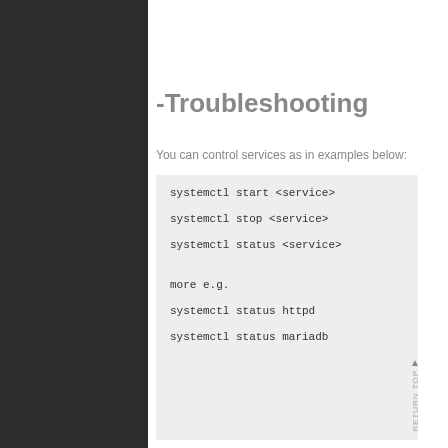-Troubleshooting
You can control services as in examples below:
systemctl start <service>
systemctl stop <service>
systemctl status <service>
more e.g.
systemctl status httpd
systemctl status mariadb